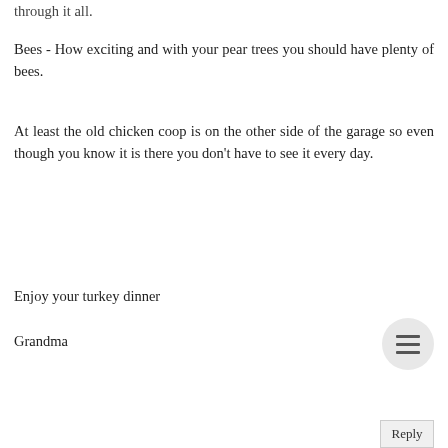through it all.
Bees - How exciting and with your pear trees you should have plenty of bees.
At least the old chicken coop is on the other side of the garage so even though you know it is there you don't have to see it every day.
Enjoy your turkey dinner
Grandma